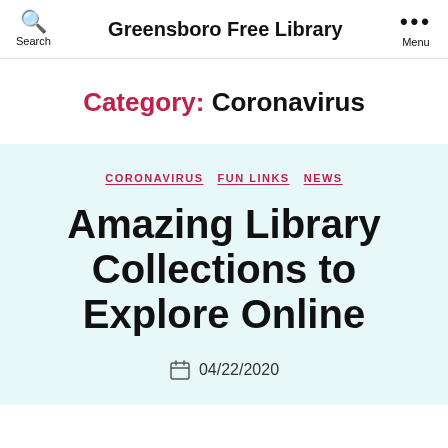Greensboro Free Library
Category: Coronavirus
CORONAVIRUS  FUN LINKS  NEWS
Amazing Library Collections to Explore Online
04/22/2020